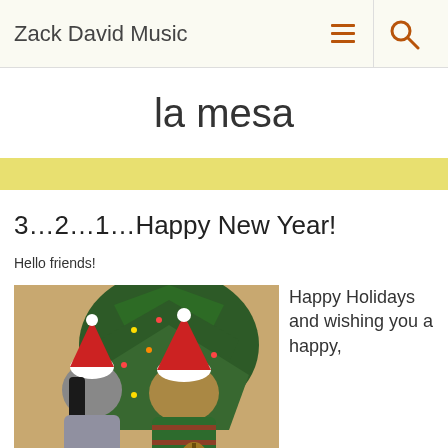Zack David Music
la mesa
3…2…1…Happy New Year!
Hello friends!
[Figure (photo): A couple sitting in front of a Christmas tree, both wearing Santa hats. The woman on the left is leaning toward the man on the right, who is playing a ukulele and wearing a green and red striped sweater.]
Happy Holidays and wishing you a happy,